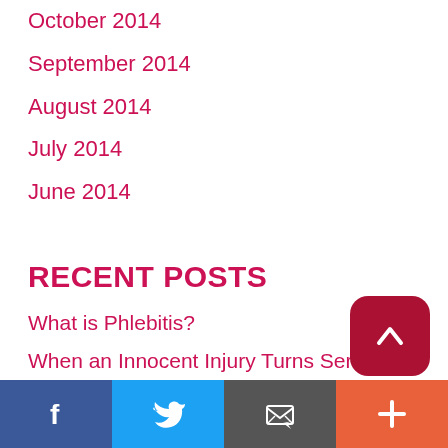October 2014
September 2014
August 2014
July 2014
June 2014
RECENT POSTS
What is Phlebitis?
When an Innocent Injury Turns Serious: Learn the Symptoms of Blood Clot in Leg
What to Do About Veiny Hands
What to Expect When Getting Sclerotherapy for